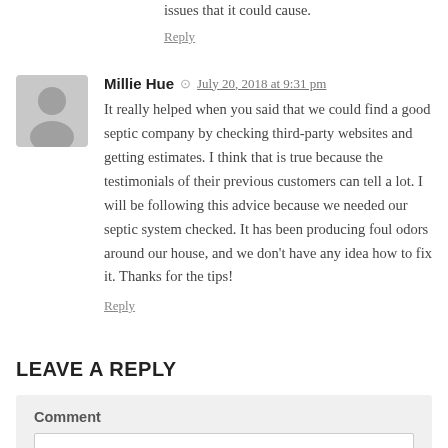issues that it could cause.
Reply
Millie Hue  July 20, 2018 at 9:31 pm
It really helped when you said that we could find a good septic company by checking third-party websites and getting estimates. I think that is true because the testimonials of their previous customers can tell a lot. I will be following this advice because we needed our septic system checked. It has been producing foul odors around our house, and we don't have any idea how to fix it. Thanks for the tips!
Reply
LEAVE A REPLY
Comment